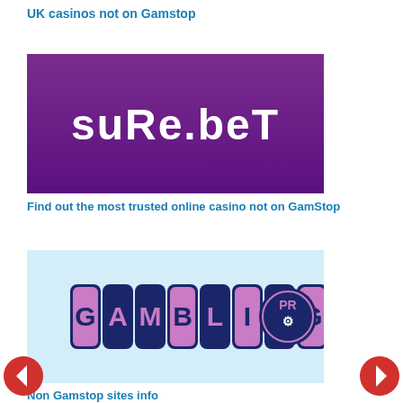UK casinos not on Gamstop
[Figure (logo): sure.bet logo — white bold text on purple/magenta gradient background]
Find out the most trusted online casino not on GamStop
[Figure (logo): GamblingPro logo — colorful letter tiles on light blue background]
Non Gamstop sites info